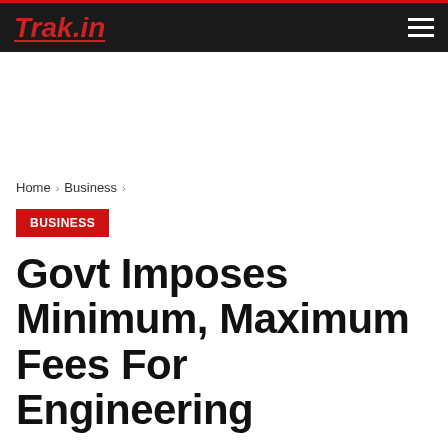Trak.in
Home > Business >
BUSINESS
Govt Imposes Minimum, Maximum Fees For Engineering